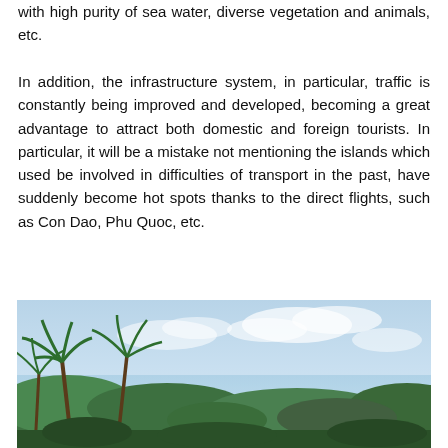with high purity of sea water, diverse vegetation and animals, etc.
In addition, the infrastructure system, in particular, traffic is constantly being improved and developed, becoming a great advantage to attract both domestic and foreign tourists. In particular, it will be a mistake not mentioning the islands which used be involved in difficulties of transport in the past, have suddenly become hot spots thanks to the direct flights, such as Con Dao, Phu Quoc, etc.
[Figure (photo): Tropical beach scene with palm trees in the foreground and a blue sky with light clouds in the background. The image shows lush green tropical vegetation along a coastline.]